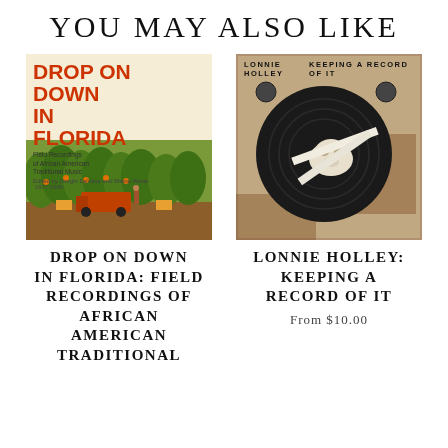YOU MAY ALSO LIKE
[Figure (photo): Album cover for 'Drop On Down In Florida: Field Recordings of African American Traditional Music 1977-1980', edited by Dwight DeVane and Blaine Waide. Cover shows orange/bold red title text on cream background with a photograph of an orange grove with workers and machinery.]
[Figure (photo): Album cover for 'Lonnie Holley: Keeping a Record of It'. Shows an assemblage artwork with a black vinyl record, a bone/skull object (animal skull), and weathered materials mounted on a board.]
DROP ON DOWN IN FLORIDA: FIELD RECORDINGS OF AFRICAN AMERICAN TRADITIONAL
LONNIE HOLLEY: KEEPING A RECORD OF IT
From $10.00